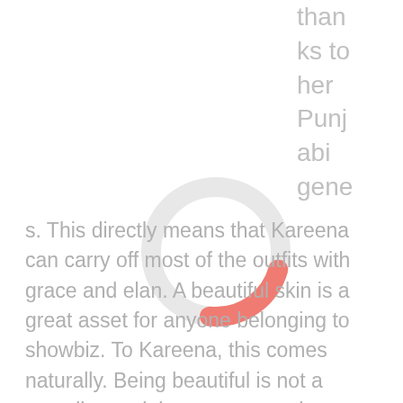thanks to her Punjabi genes. This directly means that Kareena can carry off most of the outfits with grace and elan. A beautiful skin is a great asset for anyone belonging to showbiz. To Kareena, this comes naturally. Being beautiful is not a compliment; it is a statement that defines her existence.
[Figure (donut-chart): Partial donut/ring chart with a salmon/coral colored arc on the upper right portion and a light gray ring for the remainder.]